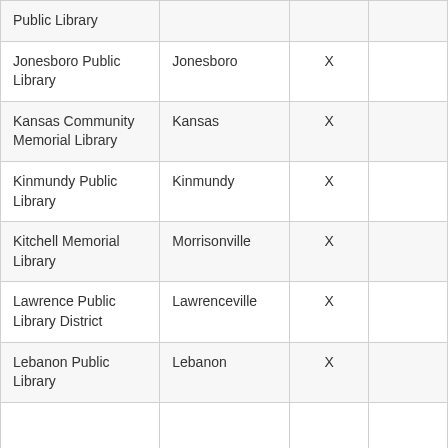| Public Library |  |  |  |
| Jonesboro Public Library | Jonesboro | X |  |
| Kansas Community Memorial Library | Kansas | X |  |
| Kinmundy Public Library | Kinmundy | X |  |
| Kitchell Memorial Library | Morrisonville | X |  |
| Lawrence Public Library District | Lawrenceville | X |  |
| Lebanon Public Library | Lebanon | X |  |
|  |  |  |  |